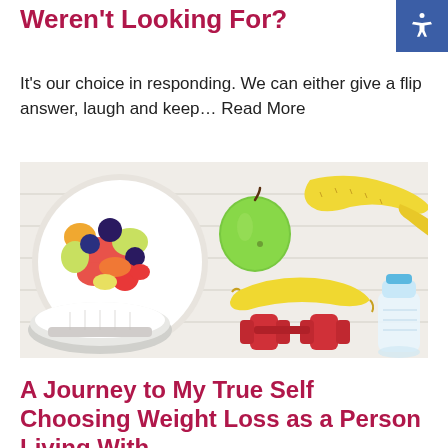Weren't Looking For?
It's our choice in responding. We can either give a flip answer, laugh and keep… Read More
[Figure (photo): Flat lay of healthy lifestyle items on a white wooden surface: a bowl of colorful fruit salad, a green apple, a yellow measuring tape, a banana, red dumbbells, white sneakers, and a water bottle.]
A Journey to My True Self Choosing Weight Loss as a Person Living With